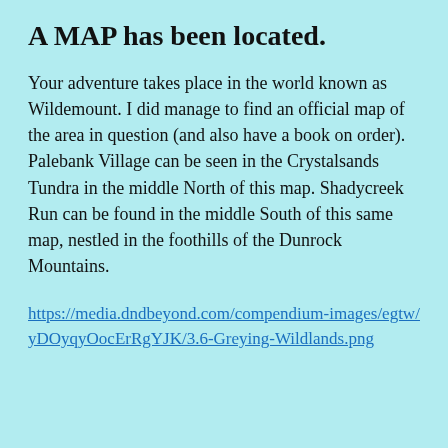A MAP has been located.
Your adventure takes place in the world known as Wildemount. I did manage to find an official map of the area in question (and also have a book on order). Palebank Village can be seen in the Crystalsands Tundra in the middle North of this map. Shadycreek Run can be found in the middle South of this same map, nestled in the foothills of the Dunrock Mountains.
https://media.dndbeyond.com/compendium-images/egtw/yDOyqyOocErRgYJK/3.6-Greying-Wildlands.png